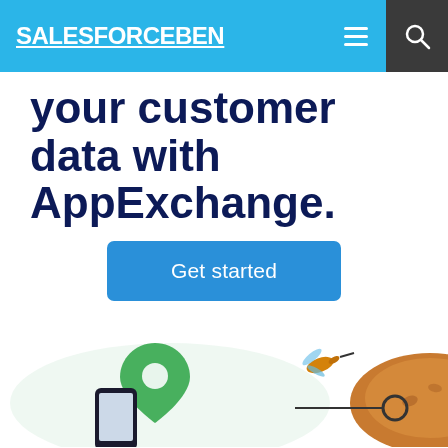SALESFORCEBEN
your customer data with AppExchange.
Get started
[Figure (illustration): Illustration showing a green map pin/location marker, a hummingbird, a cat, and a smartphone on a light green background.]
Quality Clouds
70% of Salesforce Projects Needlessly Fail
LEARN HOW